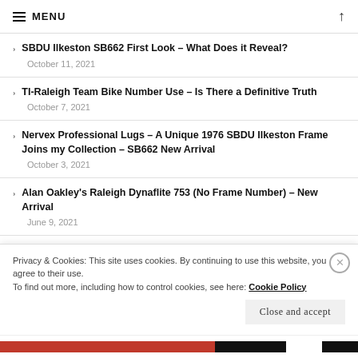MENU
SBDU Ilkeston SB662 First Look – What Does it Reveal?
October 11, 2021
TI-Raleigh Team Bike Number Use – Is There a Definitive Truth
October 7, 2021
Nervex Professional Lugs – A Unique 1976 SBDU Ilkeston Frame Joins my Collection – SB662 New Arrival
October 3, 2021
Alan Oakley's Raleigh Dynaflite 753 (No Frame Number) – New Arrival
June 9, 2021
1980 SBDU Ilkeston Reynolds 753 SB4005 – New Arrival
Privacy & Cookies: This site uses cookies. By continuing to use this website, you agree to their use.
To find out more, including how to control cookies, see here: Cookie Policy
Close and accept